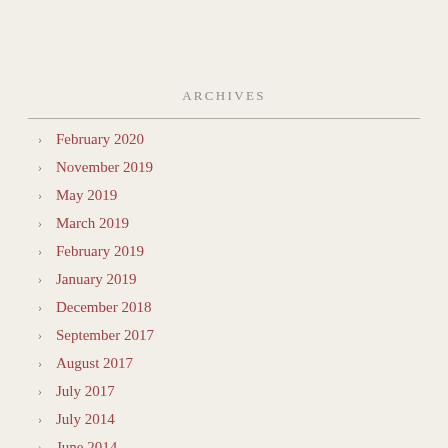ARCHIVES
February 2020
November 2019
May 2019
March 2019
February 2019
January 2019
December 2018
September 2017
August 2017
July 2017
July 2014
June 2014